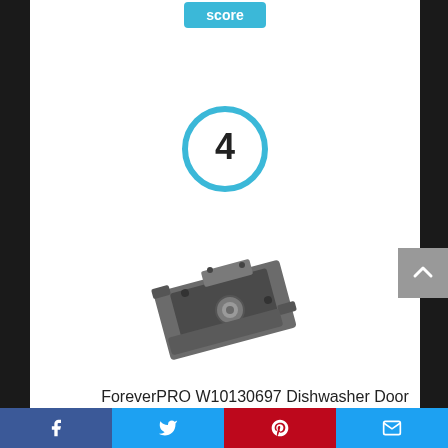[Figure (screenshot): Blue 'score' button partially visible at top of page]
[Figure (other): Circle badge with number 4 in cyan/blue outline circle]
[Figure (photo): Product photo of a dishwasher door latch assembly, dark gray metal component]
ForeverPRO W10130697 Dishwasher Door Latch Assembly for Admiral Dishwasher
[Figure (other): Social share bar with Facebook, Twitter, Pinterest, and email buttons]